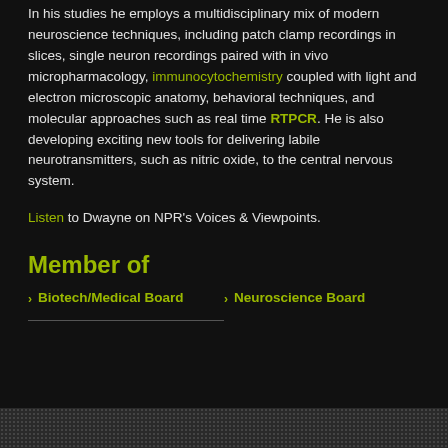In his studies he employs a multidisciplinary mix of modern neuroscience techniques, including patch clamp recordings in slices, single neuron recordings paired with in vivo micropharmacology, immunocytochemistry coupled with light and electron microscopic anatomy, behavioral techniques, and molecular approaches such as real time RTPCR. He is also developing exciting new tools for delivering labile neurotransmitters, such as nitric oxide, to the central nervous system.
Listen to Dwayne on NPR's Voices & Viewpoints.
Member of
Biotech/Medical Board
Neuroscience Board